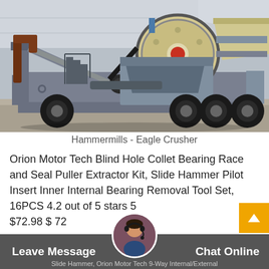[Figure (photo): Industrial mobile jaw crusher / hammermill machine (Eagle Crusher) inside a warehouse. The machine is mounted on a wheeled trailer with large black tires. It features a large flywheel with a red center, grey metal frame, conveyor structure, and safety railings. Background shows metal warehouse walls and ceiling.]
Hammermills - Eagle Crusher
Orion Motor Tech Blind Hole Collet Bearing Race and Seal Puller Extractor Kit, Slide Hammer Pilot Insert Inner Internal Bearing Removal Tool Set, 16PCS 4.2 out of 5 stars 56 $72.98 $ 72
Leave Message   Chat Online
Slide Hammer, Orion Motor Tech 9-Way Internal/External